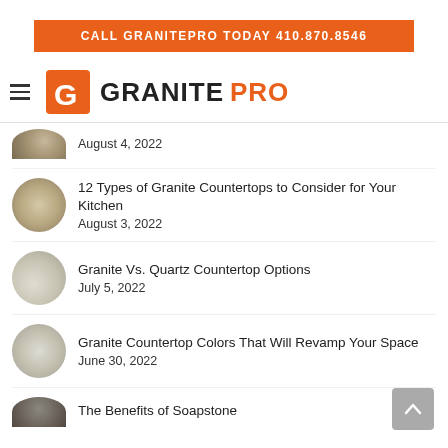CALL GRANITEPRO TODAY 410.870.8546
[Figure (logo): GranitePro logo with orange G icon and GRANITEPRO text, GRANITE in black and PRO in orange. Hamburger menu icon to the left.]
August 4, 2022
12 Types of Granite Countertops to Consider for Your Kitchen
August 3, 2022
Granite Vs. Quartz Countertop Options
July 5, 2022
Granite Countertop Colors That Will Revamp Your Space
June 30, 2022
The Benefits of Soapstone